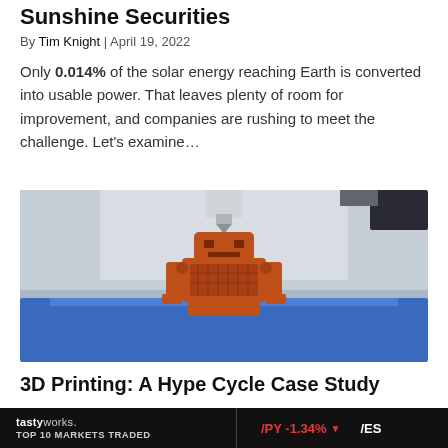Sunshine Securities
By Tim Knight | April 19, 2022
Only 0.014% of the solar energy reaching Earth is converted into usable power. That leaves plenty of room for improvement, and companies are rushing to meet the challenge. Let’s examine…
[Figure (photo): A 3D printer printing a small orange robot figurine sitting on a blue platform, with the printer nozzle visible above it.]
3D Printing: A Hype Cycle Case Study
tastyworks. TOP 10 MARKETS TRADED   /PY -1.34% ▼   /ES